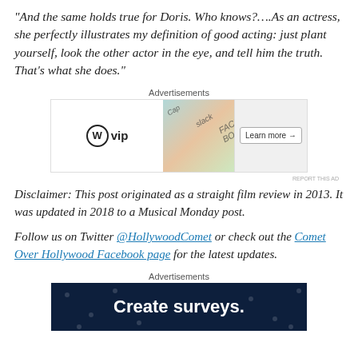“And the same holds true for Doris. Who knows?….As an actress, she perfectly illustrates my definition of good acting: just plant yourself, look the other actor in the eye, and tell him the truth. That’s what she does.”
[Figure (other): WordPress VIP advertisement banner with Learn more button and colorful card imagery]
Disclaimer: This post originated as a straight film review in 2013. It was updated in 2018 to a Musical Monday post.
Follow us on Twitter @HollywoodComet or check out the Comet Over Hollywood Facebook page for the latest updates.
[Figure (other): Advertisement banner with dark navy background and dots reading: Create surveys.]